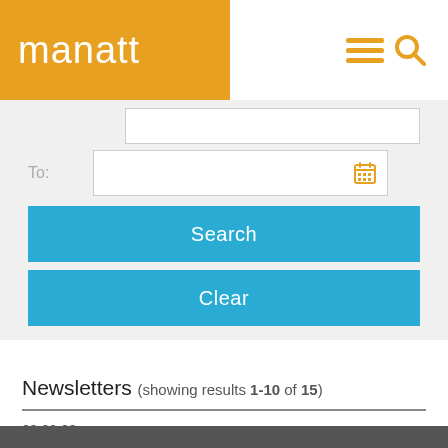manatt
[Figure (screenshot): Search form with 'To:' date field, Search button, and Clear button on gray background]
Newsletters (showing results 1-10 of 15)
03.09.22
Texas Federal Court Strikes Down